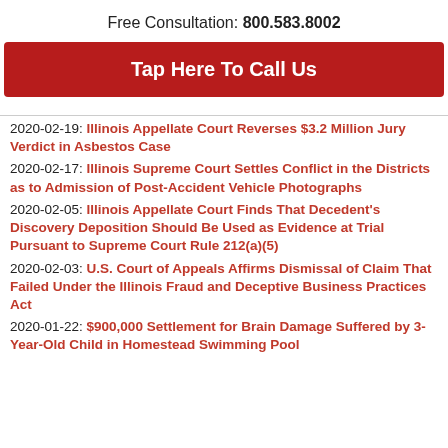Free Consultation: 800.583.8002
Tap Here To Call Us
2020-02-19: Illinois Appellate Court Reverses $3.2 Million Jury Verdict in Asbestos Case
2020-02-17: Illinois Supreme Court Settles Conflict in the Districts as to Admission of Post-Accident Vehicle Photographs
2020-02-05: Illinois Appellate Court Finds That Decedent's Discovery Deposition Should Be Used as Evidence at Trial Pursuant to Supreme Court Rule 212(a)(5)
2020-02-03: U.S. Court of Appeals Affirms Dismissal of Claim That Failed Under the Illinois Fraud and Deceptive Business Practices Act
2020-01-22: $900,000 Settlement for Brain Damage Suffered by 3-Year-Old Child in Homestead Swimming Pool